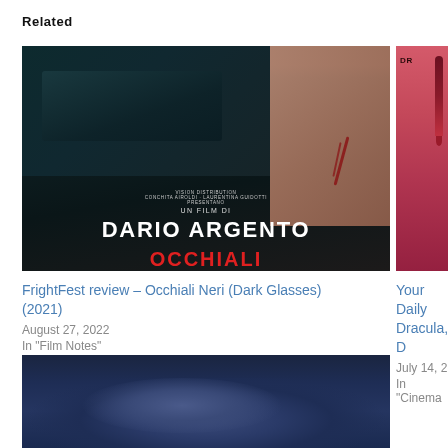Related
[Figure (photo): Movie poster for Dario Argento's film 'Occhiali Neri' (Dark Glasses) 2021 — dark teal background with silhouette figure, close-up of woman's neck/shoulder with scratch marks, text 'UN FILM DI DARIO ARGENTO' and 'OCCHIALI' in red at bottom]
FrightFest review – Occhiali Neri (Dark Glasses) (2021)
August 27, 2022
In "Film Notes"
[Figure (photo): Partial image visible on right side — pink/red background with dropper containing red liquid, partial text 'DR' visible]
Your Daily
Dracula, D
July 14, 2
In "Cinema
[Figure (photo): Dark blue atmospheric image showing cloudy sky or cloud formation — moody blue tones]